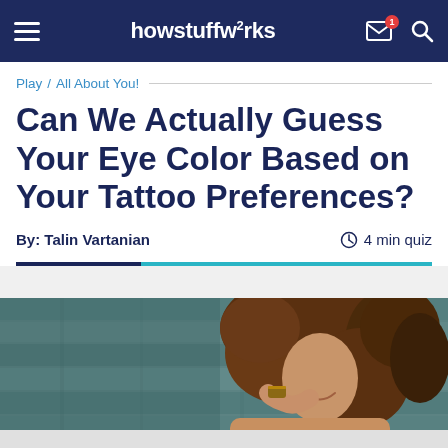howstuffworks
Play / All About You!
Can We Actually Guess Your Eye Color Based on Your Tattoo Preferences?
By: Talin Vartanian   4 min quiz
[Figure (photo): A young woman with curly brown hair smiling, standing in front of a teal/green weathered wooden wall background]